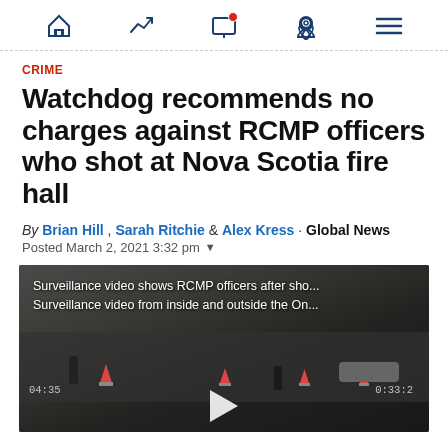Navigation bar with home, trending, screen/notifications, location, and menu icons
CRIME
Watchdog recommends no charges against RCMP officers who shot at Nova Scotia fire hall
By Brian Hill , Sarah Ritchie & Alex Kress · Global News
Posted March 2, 2021 3:32 pm
[Figure (screenshot): Surveillance video still showing RCMP officers after shooting at fire hall, with text overlay: 'Surveillance video shows RCMP officers after sho... / Surveillance video from inside and outside the On...' Timestamps visible bottom left and right. Play button at bottom center. Scene shows parking lot with traffic cones and figures.]